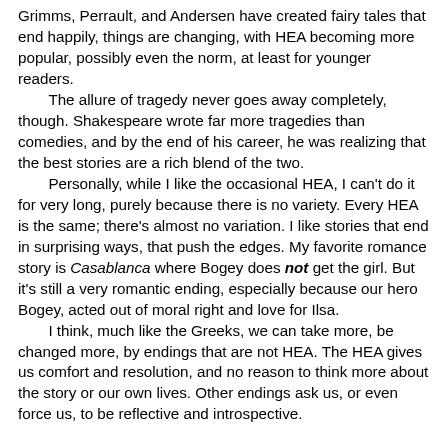Grimms, Perrault, and Andersen have created fairy tales that end happily, things are changing, with HEA becoming more popular, possibly even the norm, at least for younger readers.
	The allure of tragedy never goes away completely, though. Shakespeare wrote far more tragedies than comedies, and by the end of his career, he was realizing that the best stories are a rich blend of the two.
	Personally, while I like the occasional HEA, I can't do it for very long, purely because there is no variety. Every HEA is the same; there's almost no variation. I like stories that end in surprising ways, that push the edges. My favorite romance story is Casablanca where Bogey does not get the girl. But it's still a very romantic ending, especially because our hero Bogey, acted out of moral right and love for Ilsa.
	I think, much like the Greeks, we can take more, be changed more, by endings that are not HEA. The HEA gives us comfort and resolution, and no reason to think more about the story or our own lives. Other endings ask us, or even force us, to be reflective and introspective.